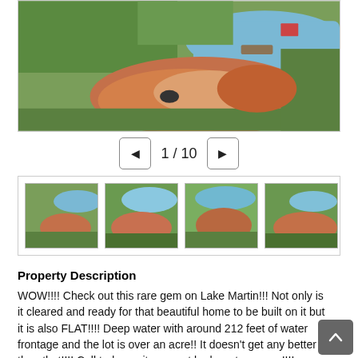[Figure (photo): Aerial drone photo of a cleared lakefront lot on Lake Martin, showing red/brown dirt clearing, surrounding green trees, and a lake with a dock visible in the background.]
1 / 10
[Figure (photo): Thumbnail strip showing four aerial photos of the Lake Martin property lot from different angles.]
Property Description
WOW!!!! Check out this rare gem on Lake Martin!!! Not only is it cleared and ready for that beautiful home to be built on it but it is also FLAT!!!! Deep water with around 212 feet of water frontage and the lot is over an acre!! It doesn't get any better than that!!!! Call today or it may not be here tomorrow!!!!